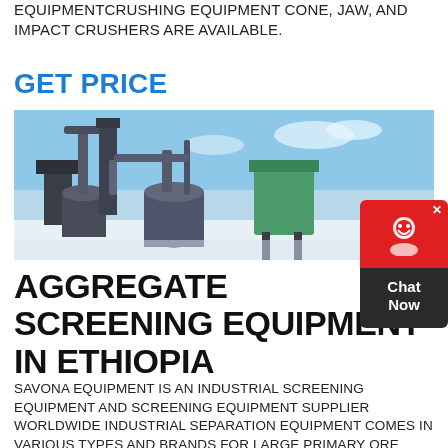EQUIPMENTCRUSHING EQUIPMENT CONE, JAW, AND IMPACT CRUSHERS ARE AVAILABLE.
GET PRICE
[Figure (photo): Industrial aggregate crushing/grinding equipment photographed outdoors in snowy conditions, showing large metal machinery with pipes and hoppers against a blue sky.]
AGGREGATE SCREENING EQUIPMENT IN ETHIOPIA
SAVONA EQUIPMENT IS AN INDUSTRIAL SCREENING EQUIPMENT AND SCREENING EQUIPMENT SUPPLIER WORLDWIDE INDUSTRIAL SEPARATION EQUIPMENT COMES IN VARIOUS TYPES AND BRANDS FOR LARGE PRIMARY ORE CRUSHING THROUGH SECONDARY